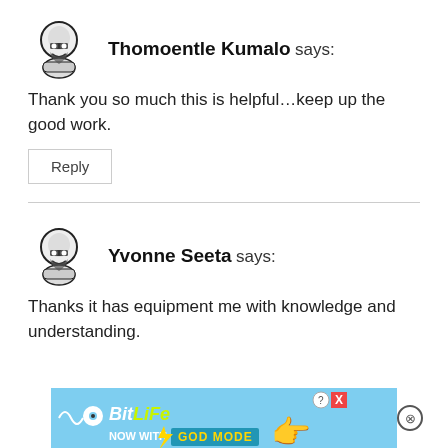[Figure (illustration): Cartoon avatar of a person with glasses and beard]
Thomoentle Kumalo says:
Thank you so much this is helpful...keep up the good work.
Reply
[Figure (illustration): Cartoon avatar of a person with glasses and beard]
Yvonne Seeta says:
Thanks it has equipment me with knowledge and understanding.
[Figure (infographic): BitLife ad banner: NOW WITH GOD MODE, with hand pointing graphic]